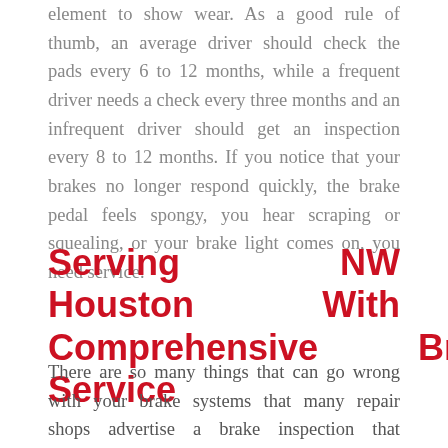element to show wear. As a good rule of thumb, an average driver should check the pads every 6 to 12 months, while a frequent driver needs a check every three months and an infrequent driver should get an inspection every 8 to 12 months. If you notice that your brakes no longer respond quickly, the brake pedal feels spongy, you hear scraping or squealing, or your brake light comes on, you need service.
Serving NW Houston With Comprehensive Brake Service
There are so many things that can go wrong with your brake systems that many repair shops advertise a brake inspection that encompasses dozens of points. At Cherry Park Automotive, we go beyond